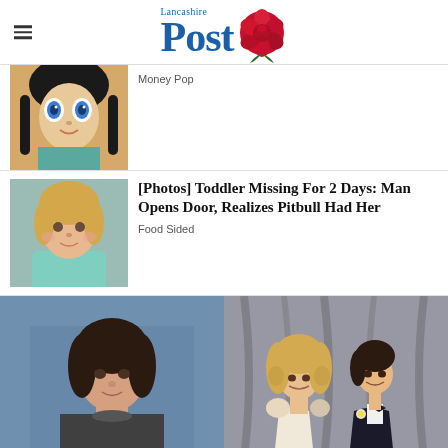Lancashire Post
Money Pop
[Figure (photo): Close-up photo of a doll with big blue eyes and dark braided hair]
[Photos] Toddler Missing For 2 Days: Man Opens Door, Realizes Pitbull Had Her
Food Sided
[Figure (photo): Photo of a young toddler girl with blonde hair wearing a teal shirt]
[Figure (photo): Two side-by-side photos: left shows a young woman with dark hair, right shows a couple at what appears to be prom]